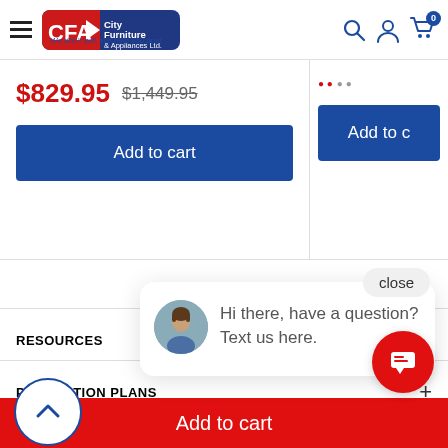City Furniture & Appliances Ltd. — We don't sell, We help you buy!
$829.95  $1,449.95
Add to cart
Add to cart
close
Hi there, have a question? Text us here.
RESOURCES
PROTECTION PLANS
SUBSCRIBE
Add to cart